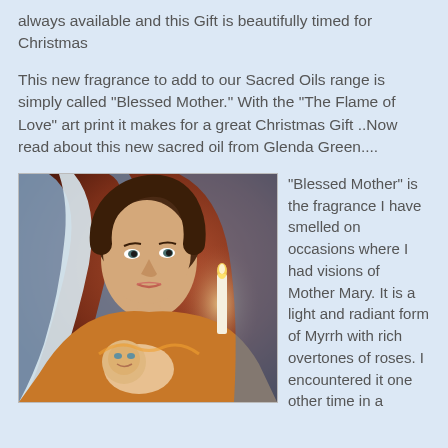always available and this Gift is beautifully timed for Christmas
This new fragrance to add to our Sacred Oils range is simply called "Blessed Mother." With the "The Flame of Love" art print it makes for a great Christmas Gift ..Now read about this new sacred oil from Glenda Green....
[Figure (illustration): Painting of the Blessed Mother (Virgin Mary) holding the infant Jesus, with a candle in the background and warm golden/red tones.]
"Blessed Mother" is the fragrance I have smelled on occasions where I had visions of Mother Mary. It is a light and radiant form of Myrrh with rich overtones of roses. I encountered it one other time in a